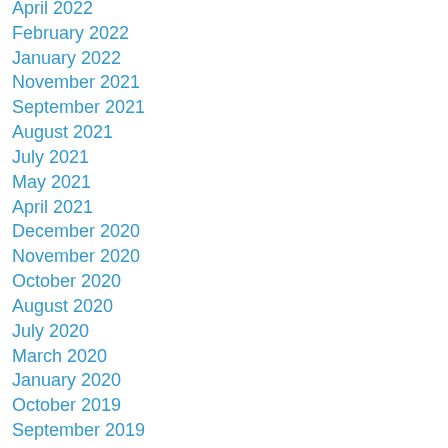April 2022
February 2022
January 2022
November 2021
September 2021
August 2021
July 2021
May 2021
April 2021
December 2020
November 2020
October 2020
August 2020
July 2020
March 2020
January 2020
October 2019
September 2019
August 2019
July 2019
April 2019